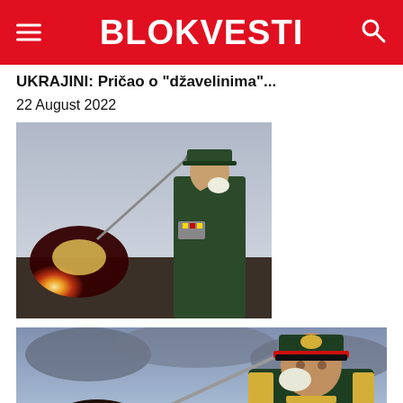BLOKVESTI
UKRAJINI: Pričao o "džavelinima"...
22 August 2022
[Figure (photo): Russian military officer in green uniform saluting, with rocket/artillery launch explosion in background]
[Figure (photo): Larger version of Russian military officer in dark green uniform with medals saluting, rocket artillery launch with large fireball in background, dramatic sky]